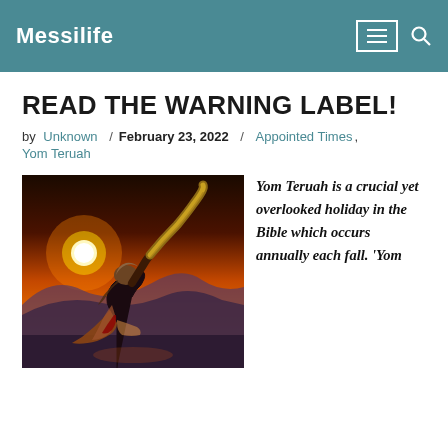Messilife
READ THE WARNING LABEL!
by Unknown / February 23, 2022 / Appointed Times, Yom Teruah
[Figure (photo): Person blowing a shofar (ram's horn) silhouetted against a dramatic orange and red sunset sky with mountains in the background]
Yom Teruah is a crucial yet overlooked holiday in the Bible which occurs annually each fall. 'Yom